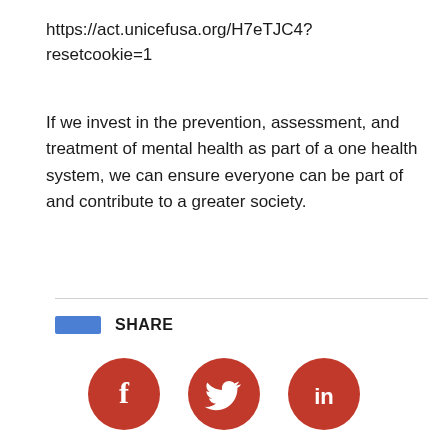https://act.unicefusa.org/H7eTJC4?resetcookie=1
If we invest in the prevention, assessment, and treatment of mental health as part of a one health system, we can ensure everyone can be part of and contribute to a greater society.
SHARE
[Figure (infographic): Three circular social media share buttons: Facebook (f), Twitter (bird), LinkedIn (in), all in dark red/terracotta color]